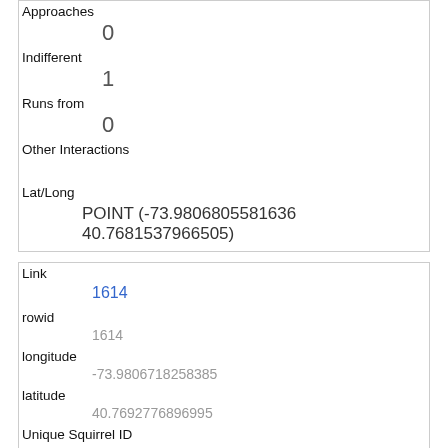| Approaches | 0 |
| Indifferent | 1 |
| Runs from | 0 |
| Other Interactions |  |
| Lat/Long | POINT (-73.9806805581636 40.7681537966505) |
| Link | 1614 |
| rowid | 1614 |
| longitude | -73.9806718258385 |
| latitude | 40.7692776896995 |
| Unique Squirrel ID | 2A-AM-1010-07 |